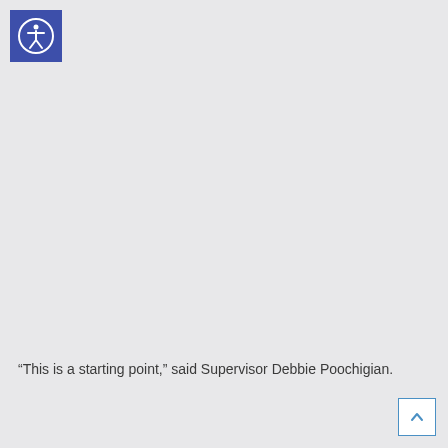[Figure (logo): Accessibility icon — white circle with person figure on blue background square]
“This is a starting point,” said Supervisor Debbie Poochigian.
[Figure (other): Back to top button — white square with blue border and upward chevron arrow]